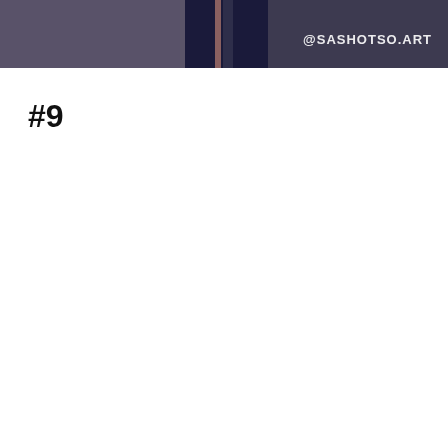[Figure (illustration): Partial illustration showing legs/lower body of animated characters in dark navy and dark maroon/grey tones, with watermark '@SASHOTSO.ART' in white text at upper right]
#9